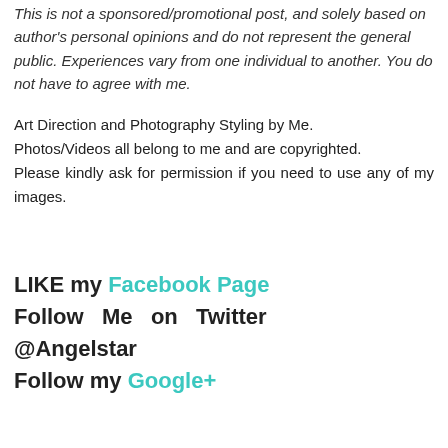This is not a sponsored/promotional post, and solely based on author's personal opinions and do not represent the general public. Experiences vary from one individual to another. You do not have to agree with me.
Art Direction and Photography Styling by Me. Photos/Videos all belong to me and are copyrighted. Please kindly ask for permission if you need to use any of my images.
LIKE my Facebook Page Follow Me on Twitter @Angelstar Follow my Google+